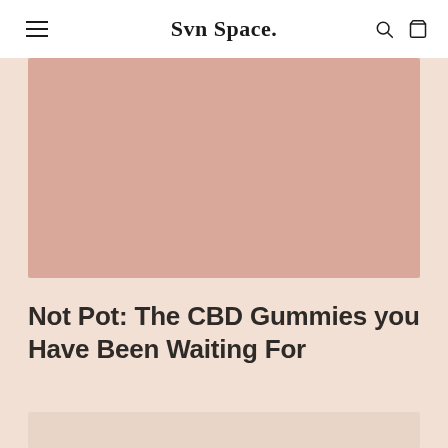Svn Space.
[Figure (photo): Large rectangular hero image with a muted pink/rose color, likely showing a product or lifestyle photo for CBD gummies article]
Not Pot: The CBD Gummies you Have Been Waiting For
[Figure (photo): Partial second image visible at the bottom of the page, light beige/cream tone]